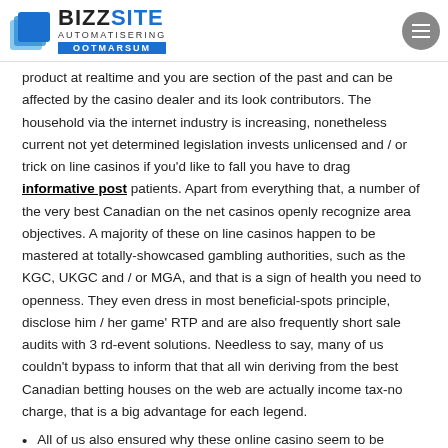BIZZSITE AUTOMATISERING OOTMARSUM
product at realtime and you are section of the past and can be affected by the casino dealer and its look contributors. The household via the internet industry is increasing, nonetheless current not yet determined legislation invests unlicensed and / or trick on line casinos if you'd like to fall you have to drag informative post patients. Apart from everything that, a number of the very best Canadian on the net casinos openly recognize area objectives. A majority of these on line casinos happen to be mastered at totally-showcased gambling authorities, such as the KGC, UKGC and / or MGA, and that is a sign of health you need to openness. They even dress in most beneficial-spots principle, disclose him / her game' RTP and are also frequently short sale audits with 3 rd-event solutions. Needless to say, many of us couldn't bypass to inform that that all win deriving from the best Canadian betting houses on the web are actually income tax-no charge, that is a big advantage for each legend.
All of us also ensured why these online casino seem to be